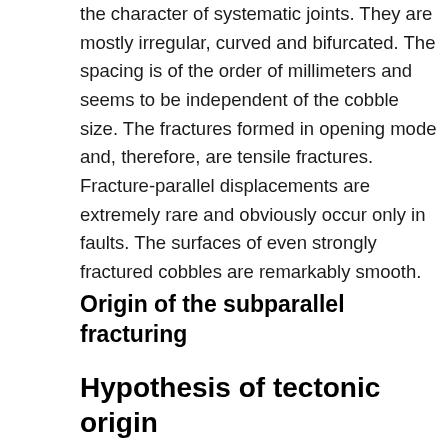the character of systematic joints. They are mostly irregular, curved and bifurcated. The spacing is of the order of millimeters and seems to be independent of the cobble size. The fractures formed in opening mode and, therefore, are tensile fractures. Fracture-parallel displacements are extremely rare and obviously occur only in faults. The surfaces of even strongly fractured cobbles are remarkably smooth.
Origin of the subparallel fracturing
Hypothesis of tectonic origin